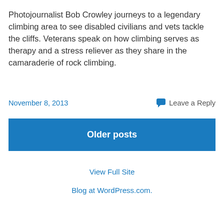Photojournalist Bob Crowley journeys to a legendary climbing area to see disabled civilians and vets tackle the cliffs. Veterans speak on how climbing serves as therapy and a stress reliever as they share in the camaraderie of rock climbing.
November 8, 2013
Leave a Reply
Older posts
View Full Site
Blog at WordPress.com.